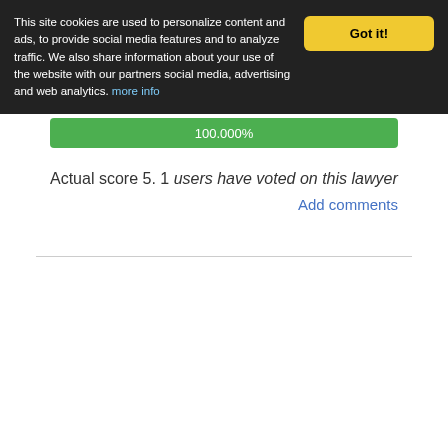This site cookies are used to personalize content and ads, to provide social media features and to analyze traffic. We also share information about your use of the website with our partners social media, advertising and web analytics. more info
[Figure (infographic): Green progress bar showing 100.000%]
Actual score 5. 1 users have voted on this lawyer
Add comments